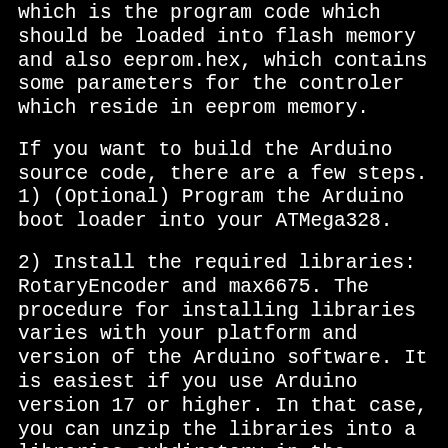which is the program code which should be loaded into flash memory and also eeprom.hex, which contains some parameters for the controler which reside in eeprom memory.
If you want to build the Arduino source code, there are a few steps. 1) (Optional) Program the Arduino boot loader into your ATMega328.
2) Install the required libraries: RotaryEncoder and max6675. The procedure for installing libraries varies with your platform and version of the Arduino software. It is easiest if you use Arduino version 17 or higher. In that case, you can unzip the libraries into a libraries subdiretory in the directory where your sketches reside. In earlier versions of of the Arduino software, you need to unzip the libraries in the main Arduino library